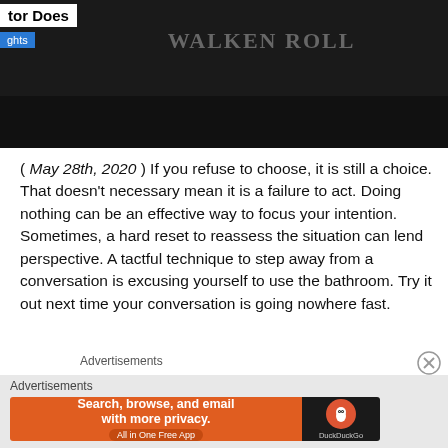[Figure (photo): Partial view of a person wearing a dark shirt with 'WALKEN ROLL' text. Overlay shows partial article title 'tor Does' and a blue 'ghts' badge. Bottom portion is a dark/black bar.]
( May 28th, 2020 ) If you refuse to choose, it is still a choice. That doesn't necessary mean it is a failure to act. Doing nothing can be an effective way to focus your intention. Sometimes, a hard reset to reassess the situation can lend perspective. A tactful technique to step away from a conversation is excusing yourself to use the bathroom. Try it out next time your conversation is going nowhere fast.
Advertisements
[Figure (screenshot): DuckDuckGo advertisement banner: orange background with text 'Search, browse, and email with more privacy. All in One Free App' and DuckDuckGo logo on dark background.]